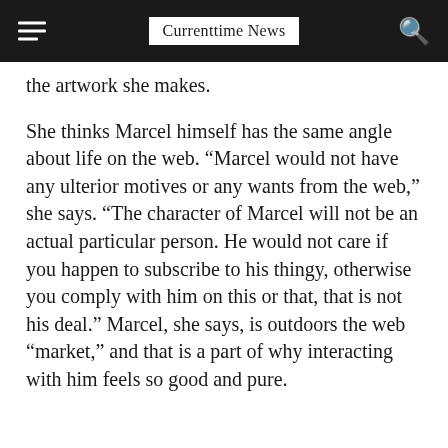Currenttime News
the artwork she makes.
She thinks Marcel himself has the same angle about life on the web. “Marcel would not have any ulterior motives or any wants from the web,” she says. “The character of Marcel will not be an actual particular person. He would not care if you happen to subscribe to his thingy, otherwise you comply with him on this or that, that is not his deal.” Marcel, she says, is outdoors the web “market,” and that is a part of why interacting with him feels so good and pure.